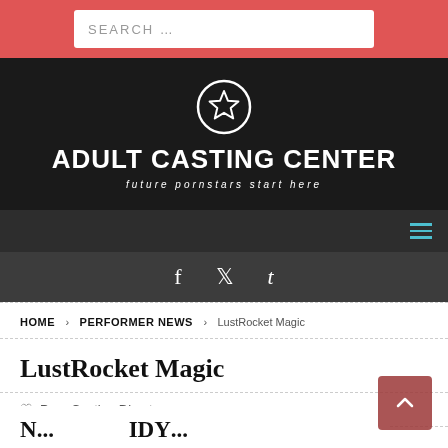SEARCH …
[Figure (logo): Adult Casting Center logo with star icon circle, title 'ADULT CASTING CENTER' and subtitle 'future pornstars start here']
Navigation hamburger menu
Social icons: f (Facebook), bird (Twitter), t (Tumblr)
HOME > PERFORMER NEWS > LustRocket Magic
LustRocket Magic
Porn Casting Director
N... IDY...